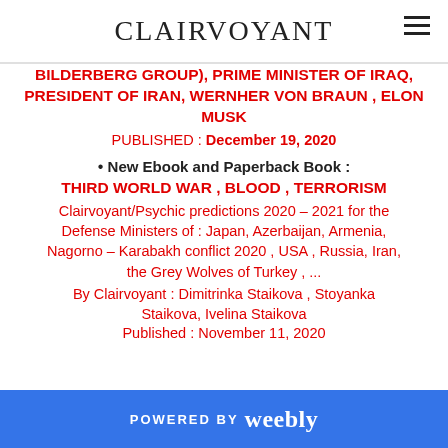CLAIRVOYANT
BILDERBERG GROUP), PRIME MINISTER OF IRAQ, PRESIDENT OF IRAN, WERNHER VON BRAUN , ELON MUSK
PUBLISHED : December 19, 2020
New Ebook and Paperback Book : THIRD WORLD WAR , BLOOD , TERRORISM Clairvoyant/Psychic predictions 2020 – 2021 for the Defense Ministers of : Japan, Azerbaijan, Armenia, Nagorno – Karabakh conflict 2020 , USA , Russia, Iran, the Grey Wolves of Turkey , ... By Clairvoyant : Dimitrinka Staikova , Stoyanka Staikova, Ivelina Staikova Published : November 11, 2020
POWERED BY weebly